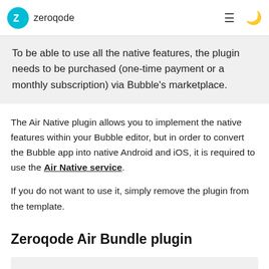zeroqode
To be able to use all the native features, the plugin needs to be purchased (one-time payment or a monthly subscription) via Bubble's marketplace.
The Air Native plugin allows you to implement the native features within your Bubble editor, but in order to convert the Bubble app into native Android and iOS, it is required to use the Air Native service.
If you do not want to use it, simply remove the plugin from the template.
Zeroqode Air Bundle plugin